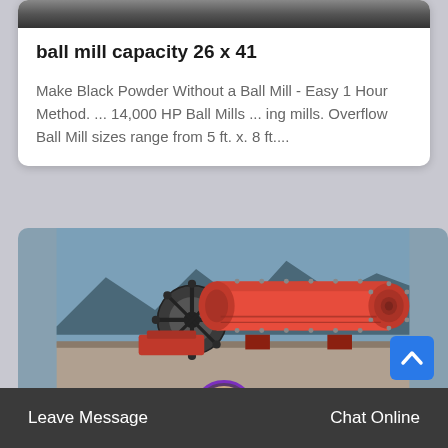[Figure (screenshot): Partial image strip at top of card showing dark machinery]
ball mill capacity 26 x 41
Make Black Powder Without a Ball Mill - Easy 1 Hour Method. ... 14,000 HP Ball Mills ... ing mills. Overflow Ball Mill sizes range from 5 ft. x. 8 ft....
[Figure (photo): Large red industrial ball mill machine sitting on concrete outdoors with mountains in background]
Leave Message
Chat Online